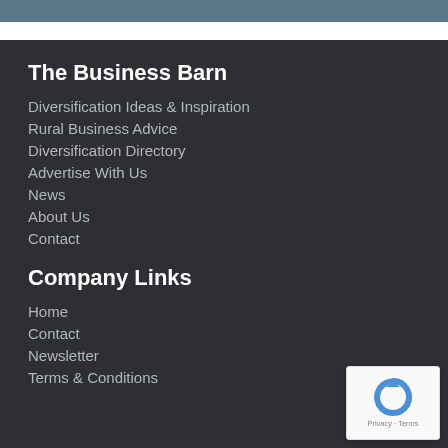The Business Barn
Diversification Ideas & Inspiration
Rural Business Advice
Diversification Directory
Advertise With Us
News
About Us
Contact
Company Links
Home
Contact
Newsletter
Terms & Conditions
[Figure (logo): reCAPTCHA badge with Privacy and Terms text]